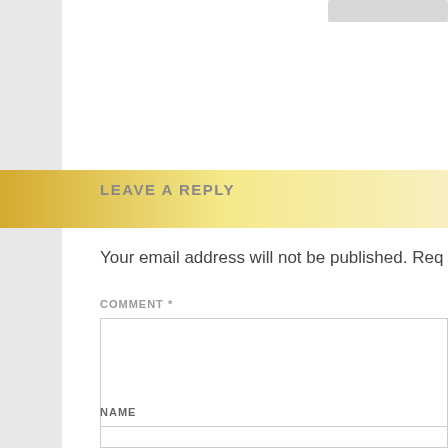LEAVE A REPLY
Your email address will not be published. Req
COMMENT *
NAME